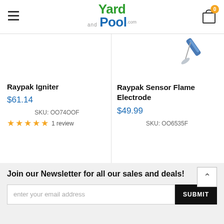Yard and Pool .com — navigation header with hamburger menu and cart (0 items)
[Figure (photo): Partial product image of Raypak Sensor Flame Electrode showing a metallic probe/sensor tip at top right of product listing area]
Raypak Igniter
$61.14
SKU: OO74OOF
★★★★★ 1 review
Raypak Sensor Flame Electrode
$49.99
SKU: OO6535F
Join our Newsletter for all our sales and deals!
enter your email address
SUBMIT